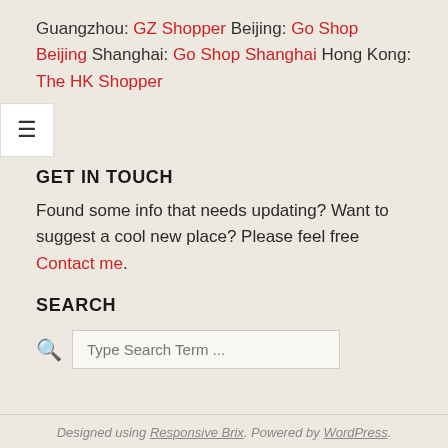Guangzhou: GZ Shopper Beijing: Go Shop Beijing Shanghai: Go Shop Shanghai Hong Kong: The HK Shopper
GET IN TOUCH
Found some info that needs updating? Want to suggest a cool new place? Please feel free Contact me.
SEARCH
Type Search Term ...
Designed using Responsive Brix. Powered by WordPress.